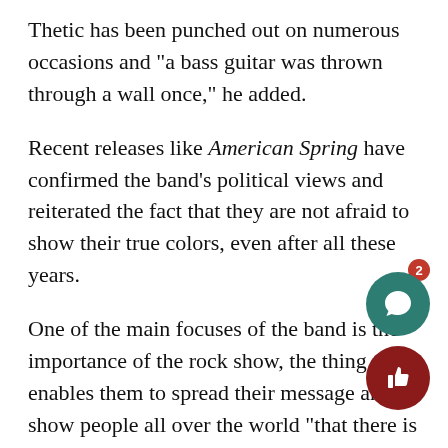Thetic has been punched out on numerous occasions and "a bass guitar was thrown through a wall once," he added.
Recent releases like American Spring have confirmed the band's political views and reiterated the fact that they are not afraid to show their true colors, even after all these years.
One of the main focuses of the band is the importance of the rock show, the thing that enables them to spread their message and show people all over the world “that there is a whole other [world] outside of their little town or their community full of leftists, anarchists, LGBT people, people of different races, genders and religious backgrounds.”
In fact the rock show plays a major role in thei